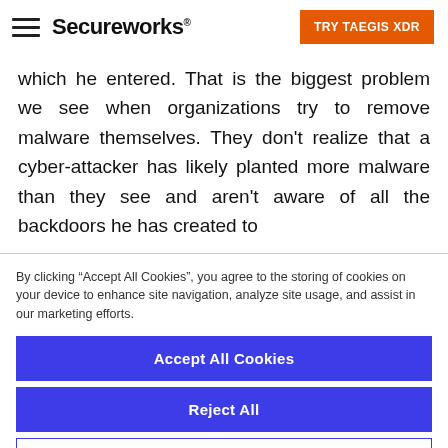Secureworks | TRY TAEGIS XDR
which he entered. That is the biggest problem we see when organizations try to remove malware themselves. They don't realize that a cyber-attacker has likely planted more malware than they see and aren't aware of all the backdoors he has created to
By clicking “Accept All Cookies”, you agree to the storing of cookies on your device to enhance site navigation, analyze site usage, and assist in our marketing efforts.
Accept All Cookies
Reject All
Cookies Settings